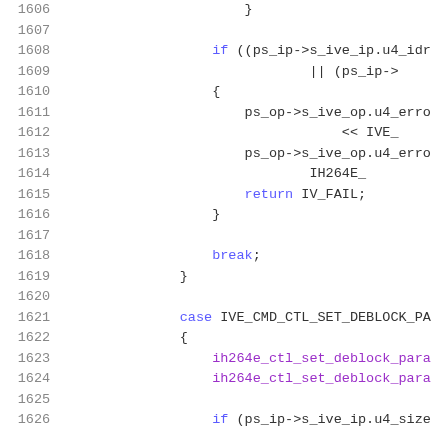[Figure (screenshot): Source code snippet showing C code lines 1606-1626, with line numbers on the left and syntax-highlighted code on the right. Keywords in blue, function calls in purple, plain code in dark gray.]